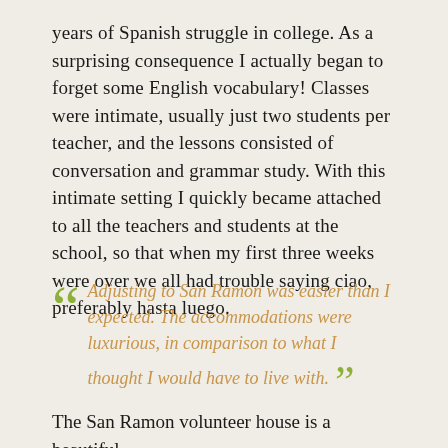years of Spanish struggle in college. As a surprising consequence I actually began to forget some English vocabulary! Classes were intimate, usually just two students per teacher, and the lessons consisted of conversation and grammar study. With this intimate setting I quickly became attached to all the teachers and students at the school, so that when my first three weeks were over we all had trouble saying ciao, preferably hasta luego.
Adjusting to San Ramon was easier than I expected. The accommodations were luxurious, in comparison to what I thought I would have to live with.
The San Ramon volunteer house is a beautiful